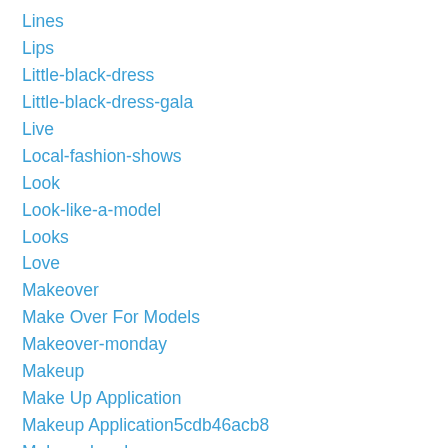Lines
Lips
Little-black-dress
Little-black-dress-gala
Live
Local-fashion-shows
Look
Look-like-a-model
Looks
Love
Makeover
Make Over For Models
Makeover-monday
Makeup
Make Up Application
Makeup Application5cdb46acb8
Makeup-brushes
Makeup-tips
Male Actors Female Actresses
Male-and-female-models
Male-Stone-models